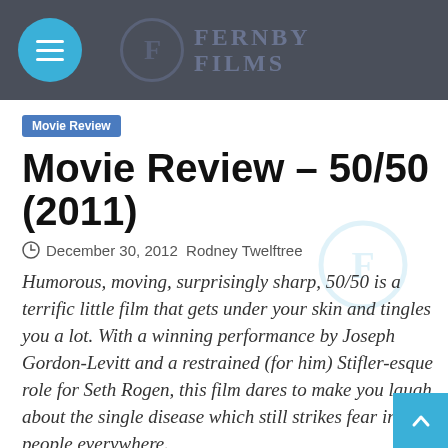Fernby Films
Movie Review
Movie Review – 50/50 (2011)
December 30, 2012  Rodney Twelftree
Humorous, moving, surprisingly sharp, 50/50 is a terrific little film that gets under your skin and tingles you a lot. With a winning performance by Joseph Gordon-Levitt and a restrained (for him) Stifler-esque role for Seth Rogen, this film dares to make you laugh about the single disease which still strikes fear into people everywhere.